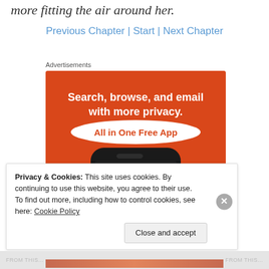more fitting the air around her.
Previous Chapter | Start | Next Chapter
Advertisements
[Figure (illustration): DuckDuckGo advertisement banner on orange background. Text reads: 'Search, browse, and email with more privacy. All in One Free App'. Shows a smartphone with DuckDuckGo logo (duck mascot in orange circle).]
Privacy & Cookies: This site uses cookies. By continuing to use this website, you agree to their use.
To find out more, including how to control cookies, see here: Cookie Policy
Close and accept